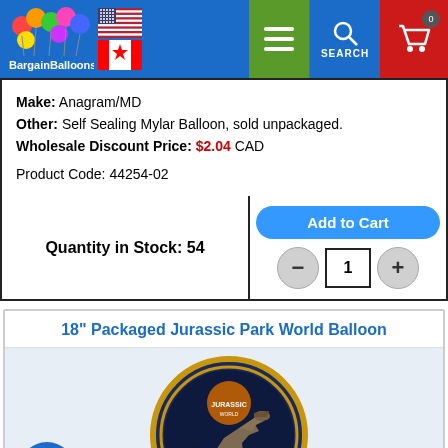[Figure (logo): BargainBalloons website header with logo, US and Canadian flags, navigation menu, search, and cart buttons]
Make: Anagram/MD
Other: Self Sealing Mylar Balloon, sold unpackaged.
Wholesale Discount Price: $2.04 CAD
Product Code: 44254-02
Quantity in Stock: 54
Add to Cart
18" Packaged Jurassic Park World Balloon
[Figure (photo): Jurassic Park World Balloon showing a T-Rex dinosaur on a dark blue circular mylar balloon with gold trim]